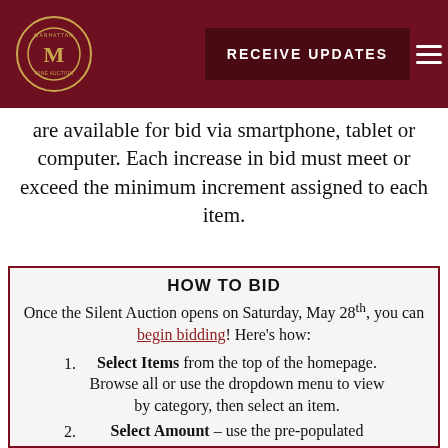Manhattan Wine Auction | RECEIVE UPDATES
are available for bid via smartphone, tablet or computer. Each increase in bid must meet or exceed the minimum increment assigned to each item.
HOW TO BID
Once the Silent Auction opens on Saturday, May 28th, you can begin bidding! Here's how:
Select Items from the top of the homepage. Browse all or use the dropdown menu to view by category, then select an item.
Select Amount – use the pre-populated minimum bid or enter a higher amount. Each increase in bid must meet or exceed the minimum